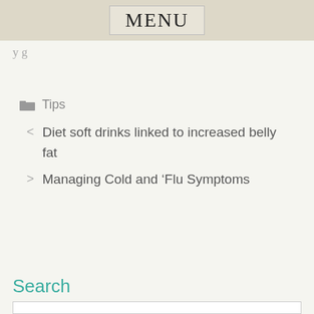MENU
y g
Tips
< Diet soft drinks linked to increased belly fat
> Managing Cold and ‘Flu Symptoms
Search